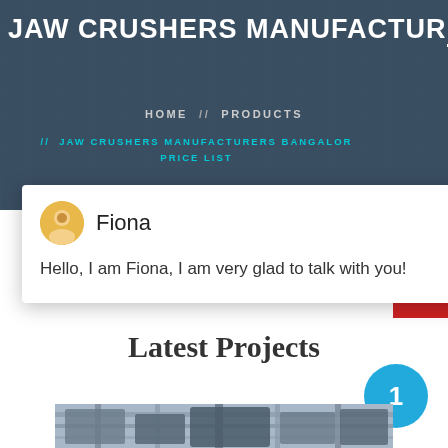JAW CRUSHERS MANUFACTURERS
HOME // PRODUCTS
// JAW CRUSHERS MANUFACTURERS BANGALORE PRICE LIST
Fiona
Hello, I am Fiona, I am very glad to talk with you!
Latest Projects
[Figure (photo): Industrial jaw crusher machinery in a factory or quarry setting, showing large metal equipment structures]